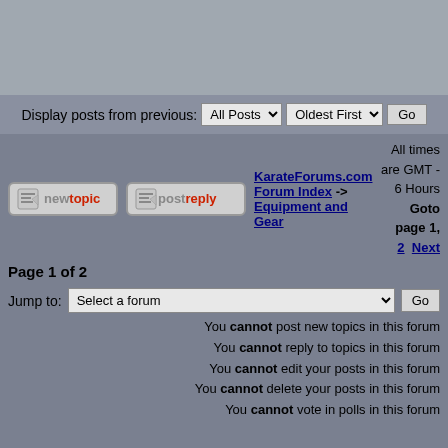[Figure (other): Gray banner advertisement area at top of forum page]
Display posts from previous: All Posts Oldest First Go
KarateForums.com Forum Index -> Equipment and Gear
All times are GMT - 6 Hours Goto page 1, 2 Next
Page 1 of 2
Jump to: Select a forum Go
You cannot post new topics in this forum
You cannot reply to topics in this forum
You cannot edit your posts in this forum
You cannot delete your posts in this forum
You cannot vote in polls in this forum